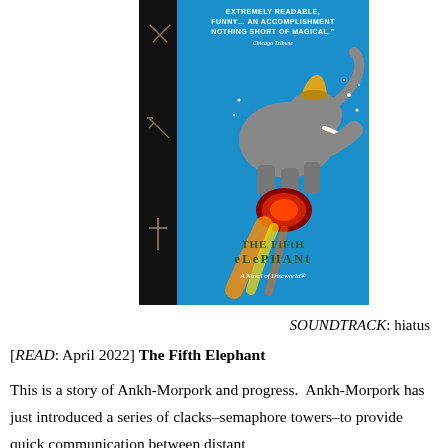[Figure (illustration): Book cover of 'The Fifth Elephant: A Novel of Discworld' showing an elephant surfing on a flaming comet against a blue background, with praise quote at top from Chicago Tribune reading 'EXTREMELY READABLE, FUNNY...AN ACCOMPLISHMENT NOTHING SHORT OF MAGICAL.' A black spine with crossed tools/symbols is visible on the left.]
SOUNDTRACK: hiatus
[READ: April 2022] The Fifth Elephant
This is a story of Ankh-Morpork and progress.  Ankh-Morpork has just introduced a series of clacks–semaphore towers–to provide quick communication between distant